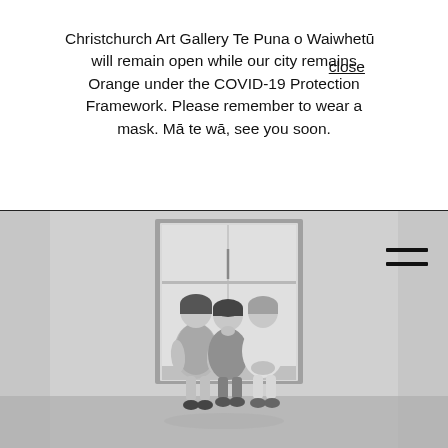Christchurch Art Gallery Te Puna o Waiwhetū will remain open while our city remains Orange under the COVID-19 Protection Framework. Please remember to wear a mask. Mā te wā, see you soon.
[Figure (photo): Black and white photograph of three children sitting side by side in a doorway or cubby, set against a white wall. The children appear to be two girls and one boy, dressed in 1960s-style clothing.]